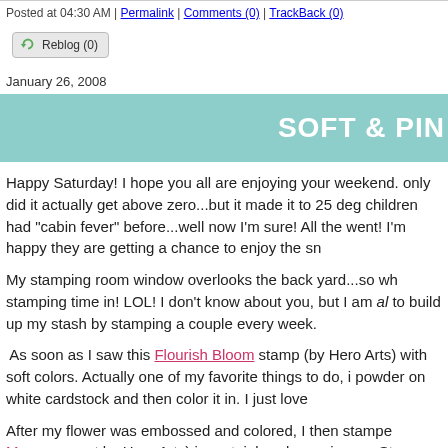Posted at 04:30 AM | Permalink | Comments (0) | TrackBack (0)
Reblog (0)
January 26, 2008
SOFT & PIN…
Happy Saturday!  I hope you all are enjoying your weekend. only did it actually get above zero...but it made it to 25 deg children had "cabin fever" before...well now I'm sure!  All the went!  I'm happy they are getting a chance to enjoy the sn
My stamping room window overlooks the back yard...so wh stamping time in!  LOL!  I don't know about you, but I am a to build up my stash by stamping a couple every week.
As soon as I saw this Flourish Bloom stamp (by Hero Arts) with soft colors.  Actually one of my favorite things to do, i powder on white cardstock and then color it in.  I just love
After my flower was embossed and colored, I then stampe Messages set by Hero Arts) in certainly celery using my St